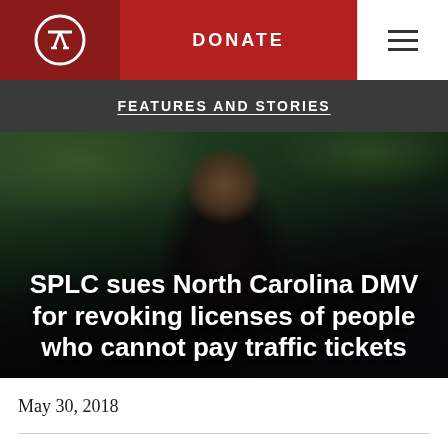DONATE
FEATURES AND STORIES
[Figure (photo): A Black man with dreadlocks wearing a dark hoodie, photographed outdoors with green foliage in background. The headline text 'SPLC sues North Carolina DMV for revoking licenses of people who cannot pay traffic tickets' is overlaid in white bold text.]
SPLC sues North Carolina DMV for revoking licenses of people who cannot pay traffic tickets
May 30, 2018